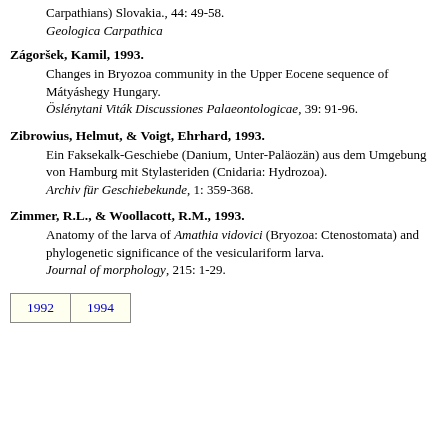Carpathians) Slovakia., 44: 49-58. Geologica Carpathica
Zágoršek, Kamil, 1993. Changes in Bryozoa community in the Upper Eocene sequence of Mátyáshegy Hungary. Öslénytani Viták Discussiones Palaeontologicae, 39: 91-96.
Zibrowius, Helmut, & Voigt, Ehrhard, 1993. Ein Faksekalk-Geschiebe (Danium, Unter-Paläozän) aus dem Umgebung von Hamburg mit Stylasteriden (Cnidaria: Hydrozoa). Archiv für Geschiebekunde, 1: 359-368.
Zimmer, R.L., & Woollacott, R.M., 1993. Anatomy of the larva of Amathia vidovici (Bryozoa: Ctenostomata) and phylogenetic significance of the vesiculariform larva. Journal of morphology, 215: 1-29.
| 1992 | 1994 |